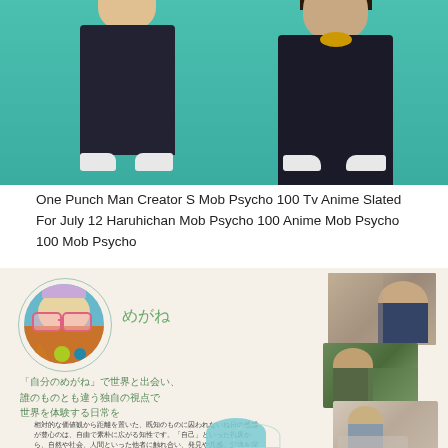[Figure (illustration): Anime characters from Mob Psycho 100 standing in front of a teal/green background. Two male characters wearing dark uniforms with white shoes.]
One Punch Man Creator S Mob Psycho 100 Tv Anime Slated For July 12 Haruhichan Mob Psycho 100 Anime Mob Psycho 100 Mob Psycho
[Figure (infographic): Japanese educational infographic with 'megane' (glasses) theme. Shows a circular icon with illustrated glasses, Japanese text headings and body paragraphs, and three photographs of students/people on the right side. A partial teal circle and ring appear at the bottom.]